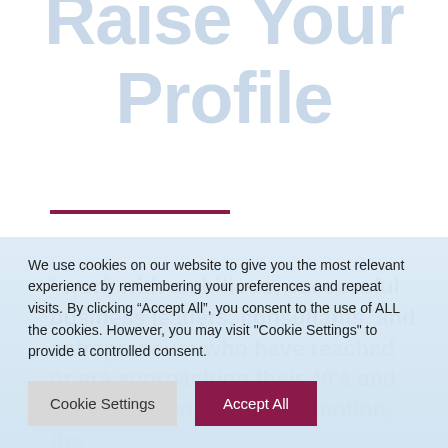Raise Your Profile
I work with ambitious, successful business leaders, consultants, and entrepreneurs who have reached or are approaching their 40's and realise that to get the promotion, the
We use cookies on our website to give you the most relevant experience by remembering your preferences and repeat visits. By clicking “Accept All”, you consent to the use of ALL the cookies. However, you may visit "Cookie Settings" to provide a controlled consent.